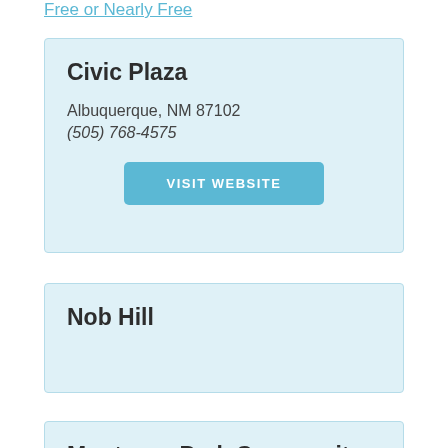Free or Nearly Free
Civic Plaza
Albuquerque, NM 87102
(505) 768-4575
VISIT WEBSITE
Nob Hill
Montessa Park Community Park